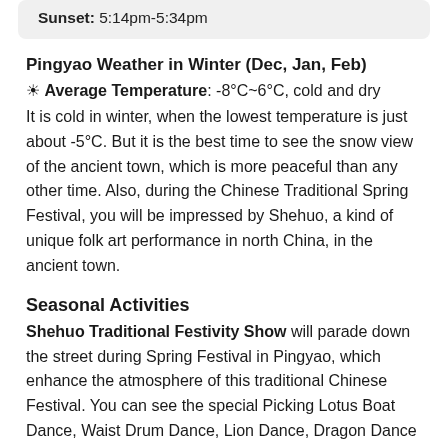Sunset: 5:14pm-5:34pm
Pingyao Weather in Winter (Dec, Jan, Feb)
☆ Average Temperature: -8°C~6°C, cold and dry
It is cold in winter, when the lowest temperature is just about -5°C. But it is the best time to see the snow view of the ancient town, which is more peaceful than any other time. Also, during the Chinese Traditional Spring Festival, you will be impressed by Shehuo, a kind of unique folk art performance in north China, in the ancient town.
Seasonal Activities
Shehuo Traditional Festivity Show will parade down the street during Spring Festival in Pingyao, which enhance the atmosphere of this traditional Chinese Festival. You can see the special Picking Lotus Boat Dance, Waist Drum Dance, Lion Dance, Dragon Dance and many other traditional folk dances performance by the locals. You can absolutely get an authentic taste of Chinese New Year here. The performances start from the first day of the Lunar New Year to the 15th day (Lantern Festival).